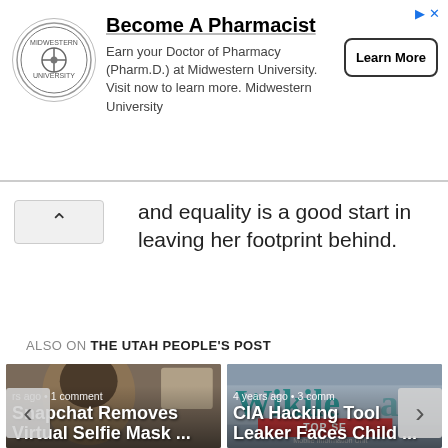[Figure (advertisement): Midwestern University ad: Become A Pharmacist. Logo on left, text and Learn More button.]
and equality is a good start in leaving her footprint behind.
ALSO ON THE UTAH PEOPLE'S POST
[Figure (photo): Article card: Snapchat Removes Virtual Selfie Mask ... • rs ago • 1 comment]
[Figure (photo): Article card: CIA Hacking Tool Leaker Faces Child ... • 4 years ago • 3 comm]